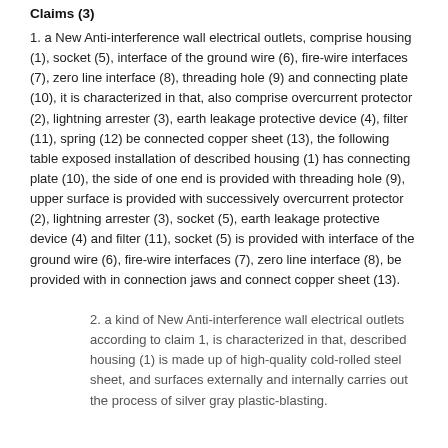Claims (3)
1. a New Anti-interference wall electrical outlets, comprise housing (1), socket (5), interface of the ground wire (6), fire-wire interfaces (7), zero line interface (8), threading hole (9) and connecting plate (10), it is characterized in that, also comprise overcurrent protector (2), lightning arrester (3), earth leakage protective device (4), filter (11), spring (12) be connected copper sheet (13), the following table exposed installation of described housing (1) has connecting plate (10), the side of one end is provided with threading hole (9), upper surface is provided with successively overcurrent protector (2), lightning arrester (3), socket (5), earth leakage protective device (4) and filter (11), socket (5) is provided with interface of the ground wire (6), fire-wire interfaces (7), zero line interface (8), be provided with in connection jaws and connect copper sheet (13).
2. a kind of New Anti-interference wall electrical outlets according to claim 1, is characterized in that, described housing (1) is made up of high-quality cold-rolled steel sheet, and surfaces externally and internally carries out the process of silver gray plastic-blasting.